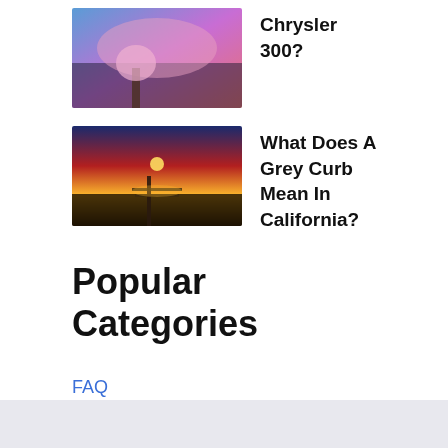[Figure (photo): Thumbnail image with colorful pink/blue tones, likely cherry blossoms or nature scene]
Chrysler 300?
[Figure (photo): Thumbnail image of a sunset over water with a pier/dock]
What Does A Grey Curb Mean In California?
Popular Categories
FAQ
Uncategorized
Wiki